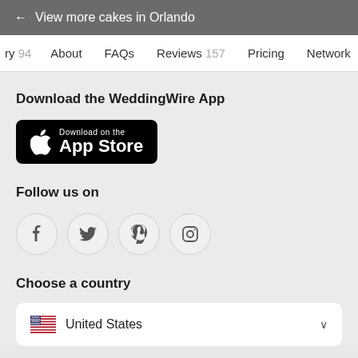← View more cakes in Orlando
ry 94   About   FAQs   Reviews 157   Pricing   Network
Download the WeddingWire App
[Figure (logo): Download on the App Store button (black rounded rectangle with Apple logo)]
Follow us on
[Figure (infographic): Four social media icons in circles: Facebook (f), Twitter (bird), Pinterest (p), Instagram (camera)]
Choose a country
🇺🇸 United States